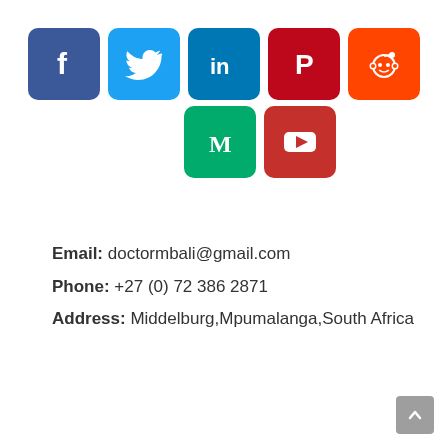[Figure (illustration): Row of social media icons: Facebook (dark blue), Twitter (light blue), LinkedIn (blue), Pinterest (dark red), Reddit (orange), and below: Medium (green), YouTube (red)]
Email: doctormbali@gmail.com
Phone: +27 (0) 72 386 2871
Address: Middelburg,Mpumalanga,South Africa